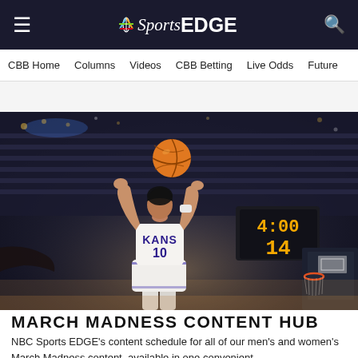NBC Sports EDGE
CBB Home   Columns   Videos   CBB Betting   Live Odds   Future
[Figure (photo): Basketball player wearing Kansas Jayhawks #10 jersey shooting a basketball in an arena, with a scoreboard showing 4:00 and 14 in the background]
MARCH MADNESS CONTENT HUB
NBC Sports EDGE's content schedule for all of our men's and women's March Madness content, available in one convenient location. MORE...